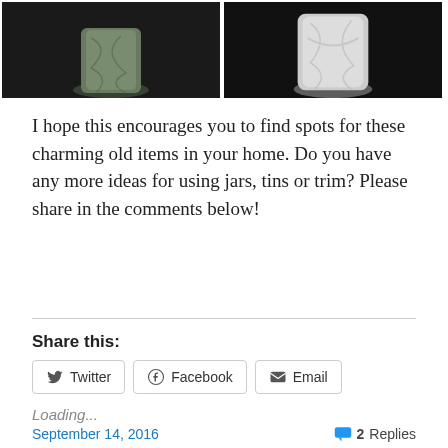[Figure (photo): Two photographs side by side of ceramic/porcelain figurines against a dark black background, showing only the bottom portions of the figurines.]
I hope this encourages you to find spots for these charming old items in your home. Do you have any more ideas for using jars, tins or trim? Please share in the comments below!
Share this:
Twitter   Facebook   Email
Loading...
September 14, 2016    2 Replies